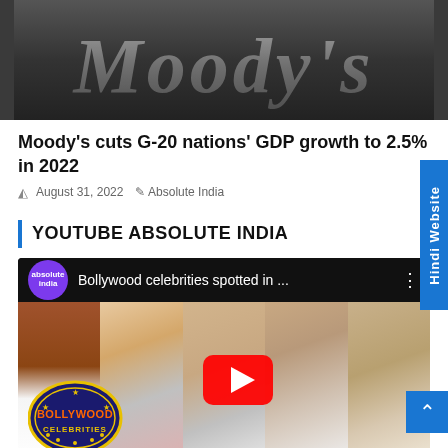[Figure (photo): Dark metallic surface with embossed Moody's logo text in italic style]
Moody's cuts G-20 nations' GDP growth to 2.5% in 2022
August 31, 2022  Absolute India
YOUTUBE ABSOLUTE INDIA
[Figure (screenshot): YouTube video embed showing 'Bollywood celebrities spotted in ...' with thumbnail collage of Bollywood celebrities and Bollywood Celebrities sign, with YouTube play button overlay]